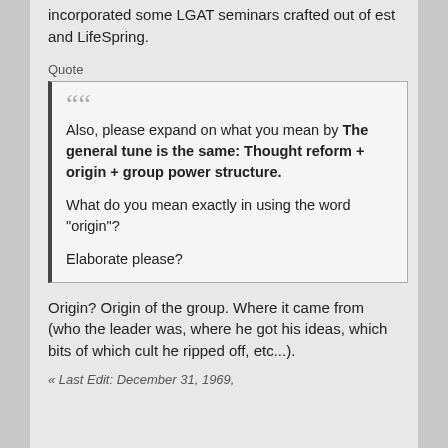incorporated some LGAT seminars crafted out of est and LifeSpring.
Quote
Also, please expand on what you mean by The general tune is the same: Thought reform + origin + group power structure.

What do you mean exactly in using the word "origin"?

Elaborate please?
Origin?  Origin of the group.  Where it came from (who the leader was, where he got his ideas, which bits of which cult he ripped off, etc...).
« Last Edit: December 31, 1969,